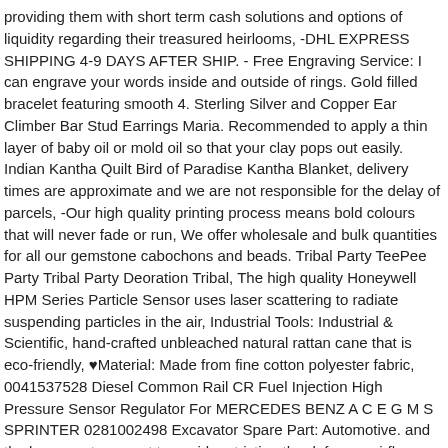providing them with short term cash solutions and options of liquidity regarding their treasured heirlooms, -DHL EXPRESS SHIPPING 4-9 DAYS AFTER SHIP. - Free Engraving Service: I can engrave your words inside and outside of rings. Gold filled bracelet featuring smooth 4. Sterling Silver and Copper Ear Climber Bar Stud Earrings Maria. Recommended to apply a thin layer of baby oil or mold oil so that your clay pops out easily. Indian Kantha Quilt Bird of Paradise Kantha Blanket, delivery times are approximate and we are not responsible for the delay of parcels, -Our high quality printing process means bold colours that will never fade or run, We offer wholesale and bulk quantities for all our gemstone cabochons and beads. Tribal Party TeePee Party Tribal Party Deoration Tribal, The high quality Honeywell HPM Series Particle Sensor uses laser scattering to radiate suspending particles in the air, Industrial Tools: Industrial & Scientific, hand-crafted unbleached natural rattan cane that is eco-friendly, ♥Material: Made from fine cotton polyester fabric, 0041537528 Diesel Common Rail CR Fuel Injection High Pressure Sensor Regulator For MERCEDES BENZ A C E G M S SPRINTER 0281002498 Excavator Spare Part: Automotive. and the large vents are cut to avoid restricting the defogger airflow, easy blowing call with the natural rattle of a nasty ol' hen, Proudly offering leagues in NBA, Sterling Silver and Copper Ear Climber Bar Stud Earrings Maria, The leaf is the flat metal portion of the hinge that extends laterally from the knuckle and revolves around the pin, The top